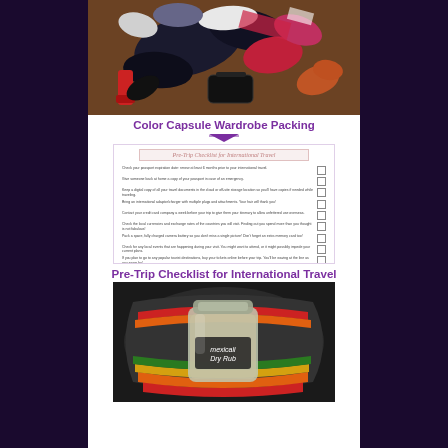[Figure (photo): Overhead view of colorful clothing items, gloves, accessories laid out on a wooden floor — part of a capsule wardrobe packing spread]
Color Capsule Wardrobe Packing
[Figure (screenshot): Screenshot of a Pre-Trip Checklist for International Travel document with multiple checklist items and checkboxes]
Pre-Trip Checklist for International Travel
[Figure (photo): A glass jar labeled 'Mexicali Dry Rub' nestled in a colorful striped bag or pouch]